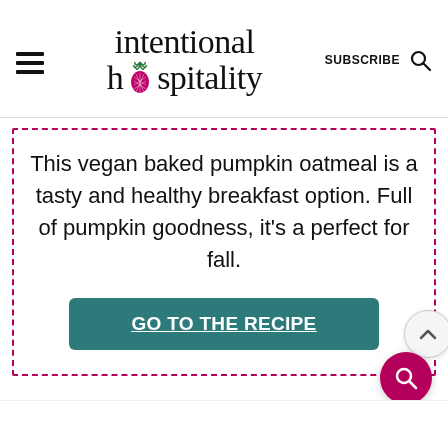intentional hospitality — SUBSCRIBE [search icon]
This vegan baked pumpkin oatmeal is a tasty and healthy breakfast option. Full of pumpkin goodness, it's a perfect for fall.
GO TO THE RECIPE